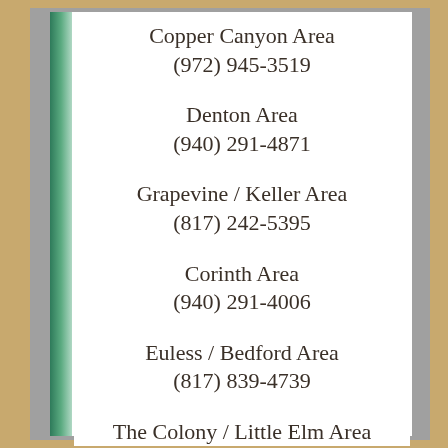Copper Canyon Area
(972) 945-3519
Denton Area
(940) 291-4871
Grapevine / Keller Area
(817) 242-5395
Corinth Area
(940) 291-4006
Euless / Bedford Area
(817) 839-4739
The Colony / Little Elm Area